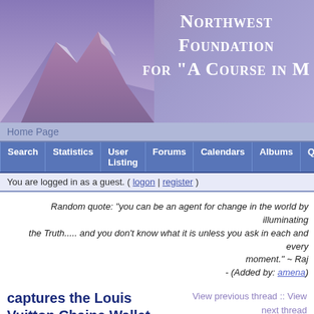[Figure (photo): Northwest Foundation for 'A Course in M...' website header banner with mountain photo on left and title text on right against purple background]
Home Page
Search | Statistics | User Listing | Forums | Calendars | Albums | Quotes | S
You are logged in as a guest. ( logon | register )
Random quote: "you can be an agent for change in the world by illuminating the Truth..... and you don't know what it is unless you ask in each and every moment." ~ Raj - (Added by: amena)
captures the Louis Vuitton Chaine Wallet Sale
View previous thread :: View next thread
Message format
Website Related -> User Feedback
| User | Post Info |
| --- | --- |
| seo123 | Posted 2014-09-12 1:26 AM (#200273)
Subject: captures the Louis Vuitton Chaine Wallet Sale |
| Veteran | After being grilled on the stand about the accusation, Deen copped to using the N word before, after "a black man" robbed her |